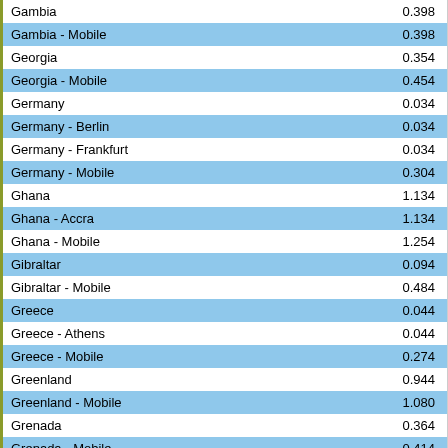|  |  |
| --- | --- |
| Gambia | 0.398 |
| Gambia - Mobile | 0.398 |
| Georgia | 0.354 |
| Georgia - Mobile | 0.454 |
| Germany | 0.034 |
| Germany - Berlin | 0.034 |
| Germany - Frankfurt | 0.034 |
| Germany - Mobile | 0.304 |
| Ghana | 1.134 |
| Ghana - Accra | 1.134 |
| Ghana - Mobile | 1.254 |
| Gibraltar | 0.094 |
| Gibraltar - Mobile | 0.484 |
| Greece | 0.044 |
| Greece - Athens | 0.044 |
| Greece - Mobile | 0.274 |
| Greenland | 0.944 |
| Greenland - Mobile | 1.080 |
| Grenada | 0.364 |
| Grenada - Mobile | 0.414 |
| Guadeloupe | 0.524 |
| Guadeloupe - Mobile | 0.574 |
| Guam | 0.084 |
| Guam - Mobile | 0.084 |
| Guantanamo Bay | 1.844 |
| Guantanamo Bay - Mobile | 1.844 |
| Guatemala | 0.154 |
| Guatemala - Mobile | 0.254 |